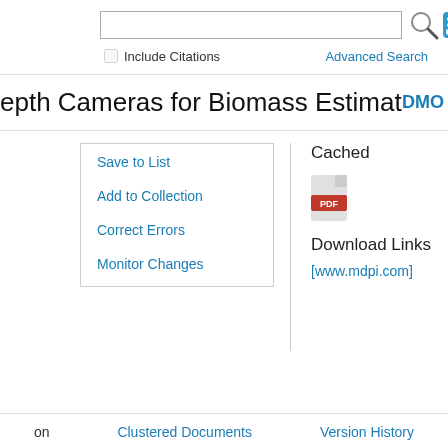[Figure (screenshot): Search bar with text input field, magnifying glass icon, and RSS icon]
Include Citations
Advanced Search
epth Cameras for Biomass Estimation
DMO
Save to List
Add to Collection
Correct Errors
Monitor Changes
Cached
[Figure (illustration): PDF icon (red and grey PDF file icon)]
Download Links
[www.mdpi.com]
on
Clustered Documents
Version History